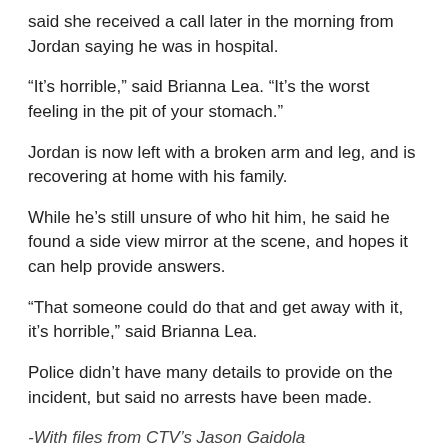said she received a call later in the morning from Jordan saying he was in hospital.
“It’s horrible,” said Brianna Lea. “It’s the worst feeling in the pit of your stomach.”
Jordan is now left with a broken arm and leg, and is recovering at home with his family.
While he’s still unsure of who hit him, he said he found a side view mirror at the scene, and hopes it can help provide answers.
“That someone could do that and get away with it, it’s horrible,” said Brianna Lea.
Police didn’t have many details to provide on the incident, but said no arrests have been made.
-With files from CTV’s Jason Gaidola